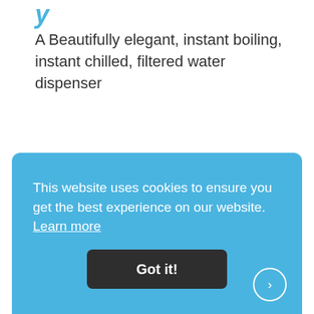y
A Beautifully elegant, instant boiling, instant chilled, filtered water dispenser
he?
This website uses cookies to ensure you get the best experience on our website. Learn more
Got it!
,